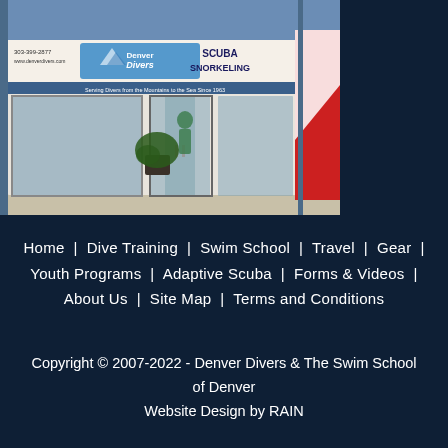[Figure (photo): Exterior photo of Denver Divers scuba and snorkeling shop. Blue brick building with glass storefront, signage reading Denver Divers, SCUBA, SNORKELING, and a red door with a white diagonal stripe (scuba diving flag) on the right side. A person visible through the windows.]
Home  |  Dive Training  |  Swim School  |  Travel  |  Gear  |  Youth Programs  |  Adaptive Scuba  |  Forms & Videos  |  About Us  |  Site Map  |  Terms and Conditions
Copyright © 2007-2022 - Denver Divers & The Swim School of Denver
Website Design by RAIN